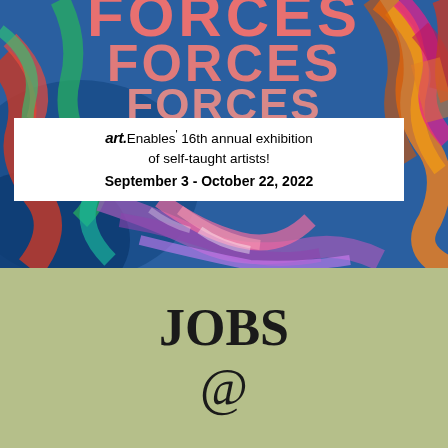[Figure (illustration): Colorful abstract painted artwork background with swirling brushstrokes in blue, red, green, pink, orange, purple. Over the artwork, large pink/salmon bold text reads FORCES repeated three times. A white box overlay contains the Art Enables exhibition text and dates.]
art.Enables' 16th annual exhibition of self-taught artists! September 3 - October 22, 2022
JOBS @